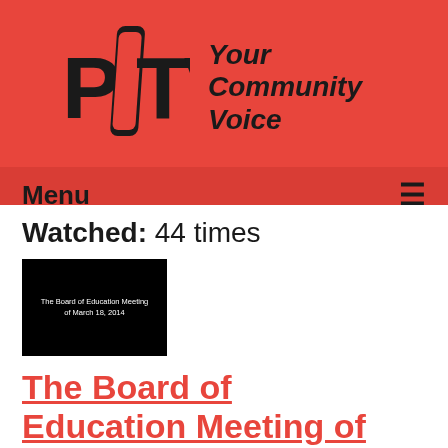[Figure (logo): PCTV logo with text 'Your Community Voice' on red background]
Menu
Watched: 44 times
[Figure (screenshot): Black thumbnail image reading 'The Board of Education Meeting of March 18, 2014']
The Board of Education Meeting of 03-18-14
Airdate: 03/18/2014